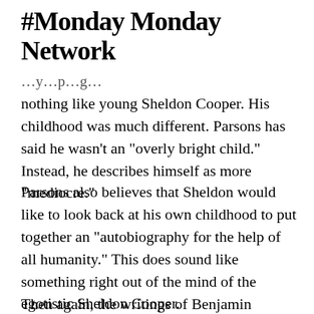#Monday Monday Network
nothing like young Sheldon Cooper. His childhood was much different. Parsons has said he wasn't an “overly bright child.” Instead, he describes himself as more “mediocre.”
Parsons also believes that Sheldon would like to look back at his own childhood to put together an “Autobiography for the help of all humanity.” This does sound like something right out of the mind of the egotistic Sheldon Cooper.
Then again, the writings of Benjamin Franklin